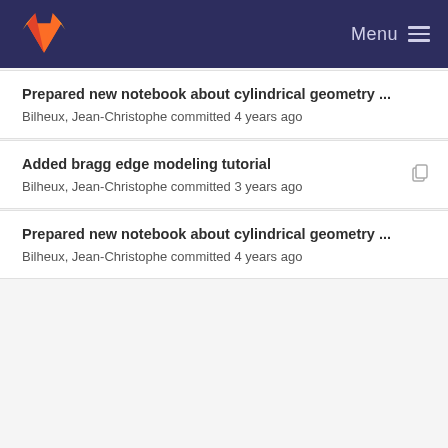Menu
Prepared new notebook about cylindrical geometry ...
Bilheux, Jean-Christophe committed 4 years ago
Added bragg edge modeling tutorial
Bilheux, Jean-Christophe committed 3 years ago
Prepared new notebook about cylindrical geometry ...
Bilheux, Jean-Christophe committed 4 years ago